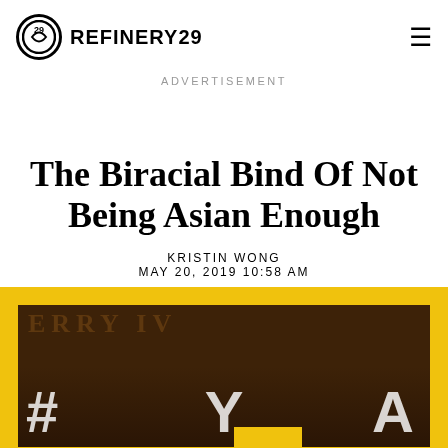REFINERY29
ADVERTISEMENT
The Biracial Bind Of Not Being Asian Enough
KRISTIN WONG
MAY 20, 2019 10:58 AM
[Figure (photo): Photo of people at what appears to be a restaurant or venue with yellow border frame and overlaid text showing #YA]